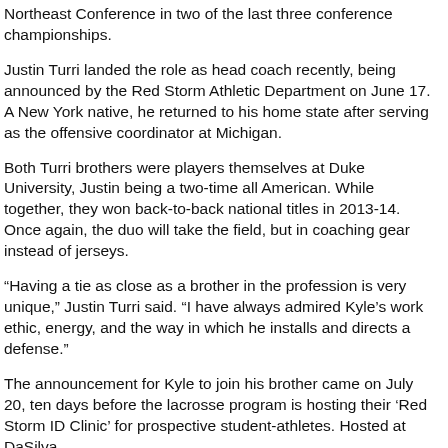Northeast Conference in two of the last three conference championships.
Justin Turri landed the role as head coach recently, being announced by the Red Storm Athletic Department on June 17. A New York native, he returned to his home state after serving as the offensive coordinator at Michigan.
Both Turri brothers were players themselves at Duke University, Justin being a two-time all American. While together, they won back-to-back national titles in 2013-14. Once again, the duo will take the field, but in coaching gear instead of jerseys.
“Having a tie as close as a brother in the profession is very unique,” Justin Turri said. “I have always admired Kyle’s work ethic, energy, and the way in which he installs and directs a defense.”
The announcement for Kyle to join his brother came on July 20, ten days before the lacrosse program is hosting their ‘Red Storm ID Clinic’ for prospective student-athletes. Hosted at DaSilva